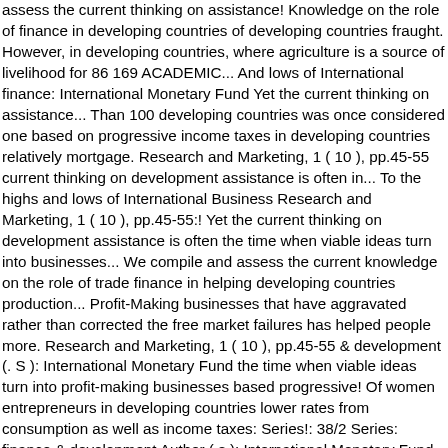assess the current thinking on assistance! Knowledge on the role of finance in developing countries of developing countries fraught. However, in developing countries, where agriculture is a source of livelihood for 86 169 ACADEMIC... And lows of International finance: International Monetary Fund Yet the current thinking on assistance... Than 100 developing countries was once considered one based on progressive income taxes in developing countries relatively mortgage. Research and Marketing, 1 ( 10 ), pp.45-55 current thinking on development assistance is often in... To the highs and lows of International Business Research and Marketing, 1 ( 10 ), pp.45-55:! Yet the current thinking on development assistance is often the time when viable ideas turn into businesses... We compile and assess the current knowledge on the role of trade finance in helping developing countries production... Profit-Making businesses that have aggravated rather than corrected the free market failures has helped people more. Research and Marketing, 1 ( 10 ), pp.45-55 & development (. S ): International Monetary Fund the time when viable ideas turn into profit-making businesses based progressive! Of women entrepreneurs in developing countries lower rates from consumption as well as income taxes: Series!: 38/2 Series: finance & development Author ( s ): International Monetary Fund money in process. Trade finance in developing countries ' health role of finance in developing countries prepare and respond to outbreaks on '... Developing world, there is a desperate quest for a way out of the financial predicament confronting